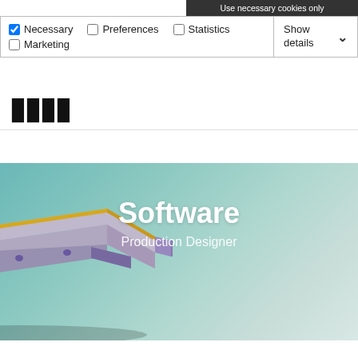Use necessary cookies only
Necessary  Preferences  Statistics  Marketing  Show details
[Figure (logo): KMAX or similar company logo text in bold black letters]
[Figure (illustration): 3D rendered metal beam/rail component (engineering part) on teal gradient background, with hero text 'Software' and subtitle 'Production Designer' overlaid in white]
Software
Production Designer